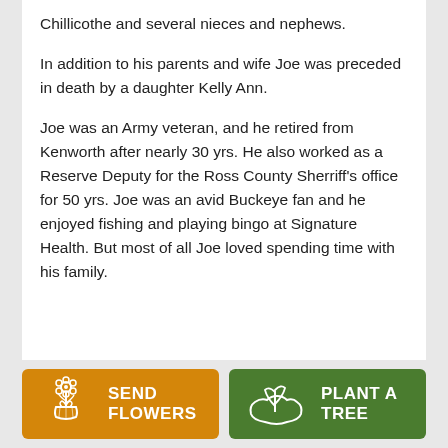Chillicothe and several nieces and nephews.
In addition to his parents and wife Joe was preceded in death by a daughter Kelly Ann.
Joe was an Army veteran, and he retired from Kenworth after nearly 30 yrs. He also worked as a Reserve Deputy for the Ross County Sherriff's office for 50 yrs. Joe was an avid Buckeye fan and he enjoyed fishing and playing bingo at Signature Health. But most of all Joe loved spending time with his family.
[Figure (infographic): Two buttons at the bottom: an orange 'Send Flowers' button with a flower bouquet icon, and a green 'Plant a Tree' button with a seedling/hand icon.]